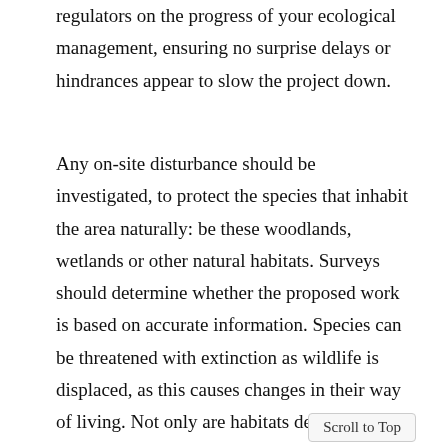regulators on the progress of your ecological management, ensuring no surprise delays or hindrances appear to slow the project down.
Any on-site disturbance should be investigated, to protect the species that inhabit the area naturally: be these woodlands, wetlands or other natural habitats. Surveys should determine whether the proposed work is based on accurate information. Species can be threatened with extinction as wildlife is displaced, as this causes changes in their way of living. Not only are habitats destroyed, but noise and light disturbances during construction can also affect the feeding and breeding behaviours of birds and animals, which has a negative impact on the long term population levels.